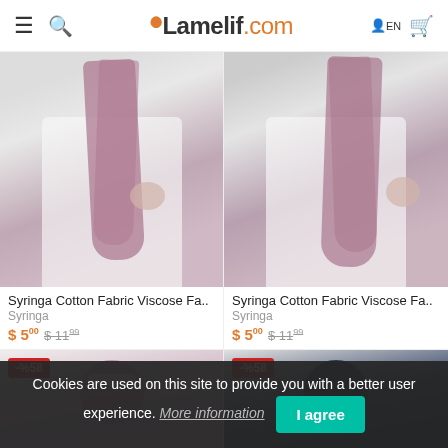Lamelif.com
[Figure (photo): Product photo: pink/mauve scarf draped over white outfit, left product]
Syringa Cotton Fabric Viscose Fa..
Syringa
$ 5.00 $ 11.99
[Figure (photo): Product photo: pink/mauve scarf draped over white outfit, right product]
Syringa Cotton Fabric Viscose Fa..
Syringa
$ 5.00 $ 11.99
[Figure (photo): Product photo: woman wearing pink hijab with sunglasses, -58% discount badge]
[Figure (photo): Product photo: woman wearing dark navy hijab, -58% discount badge]
Cookies are used on this site to provide you with a better user experience. More information I agree